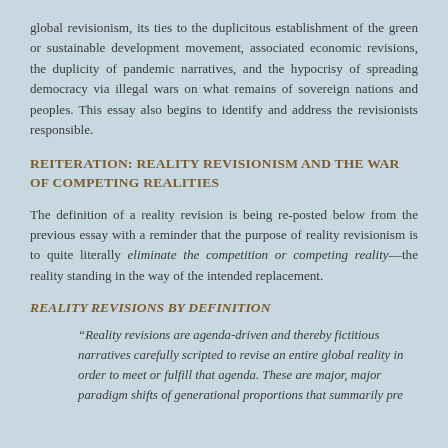global revisionism, its ties to the duplicitous establishment of the green or sustainable development movement, associated economic revisions, the duplicity of pandemic narratives, and the hypocrisy of spreading democracy via illegal wars on what remains of sovereign nations and peoples. This essay also begins to identify and address the revisionists responsible.
REITERATION: REALITY REVISIONISM AND THE WAR OF COMPETING REALITIES
The definition of a reality revision is being re-posted below from the previous essay with a reminder that the purpose of reality revisionism is to quite literally eliminate the competition or competing reality—the reality standing in the way of the intended replacement.
REALITY REVISIONS BY DEFINITION
“Reality revisions are agenda-driven and thereby fictitious narratives carefully scripted to revise an entire global reality in order to meet or fulfill that agenda. These are major, major paradigm shifts of generational proportions that summarily pre and define the future existence and distinct culture of billi...